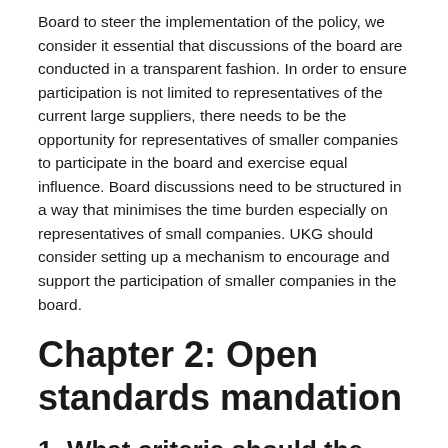Board to steer the implementation of the policy, we consider it essential that discussions of the board are conducted in a transparent fashion. In order to ensure participation is not limited to representatives of the current large suppliers, there needs to be the opportunity for representatives of smaller companies to participate in the board and exercise equal influence. Board discussions need to be structured in a way that minimises the time burden especially on representatives of small companies. UKG should consider setting up a mechanism to encourage and support the participation of smaller companies in the board.
Chapter 2: Open standards mandation
1. What criteria should the Government consider when deciding whether it is appropriate to mandate particular standards?